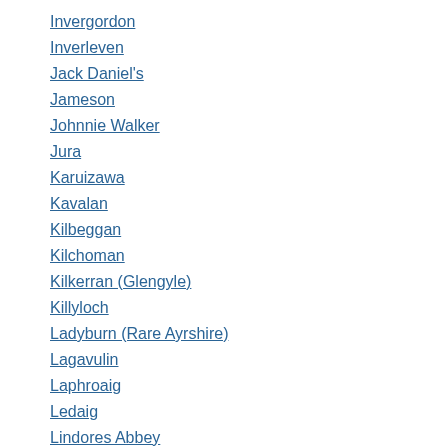Invergordon
Inverleven
Jack Daniel's
Jameson
Johnnie Walker
Jura
Karuizawa
Kavalan
Kilbeggan
Kilchoman
Kilkerran (Glengyle)
Killyloch
Ladyburn (Rare Ayrshire)
Lagavulin
Laphroaig
Ledaig
Lindores Abbey
Linkwood
Littlemill